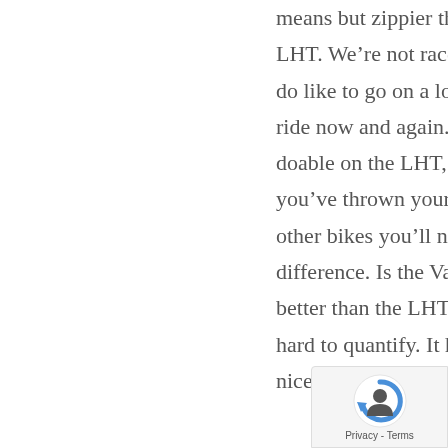means but zippier than the LHT. We’re not racers, but we do like to go on a long day ride now and again. Totally doable on the LHT, but if you’ve thrown your leg over other bikes you’ll notice the difference. Is the Vaya $1000 better than the LHT? That’s hard to quantify. It has some nicer bits and I prefer it for
[Figure (logo): reCAPTCHA logo with Privacy and Terms text]